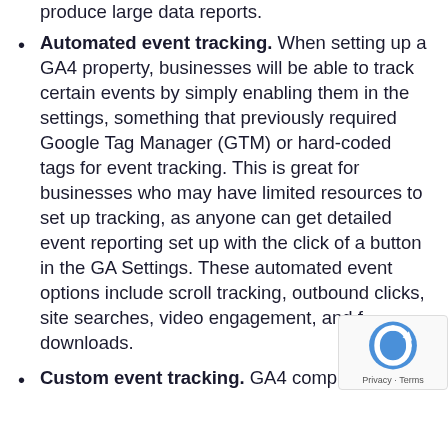produce large data reports.
Automated event tracking. When setting up a GA4 property, businesses will be able to track certain events by simply enabling them in the settings, something that previously required Google Tag Manager (GTM) or hard-coded tags for event tracking. This is great for businesses who may have limited resources to set up tracking, as anyone can get detailed event reporting set up with the click of a button in the GA Settings. These automated event options include scroll tracking, outbound clicks, site searches, video engagement, and file downloads.
Custom event tracking. GA4 completely